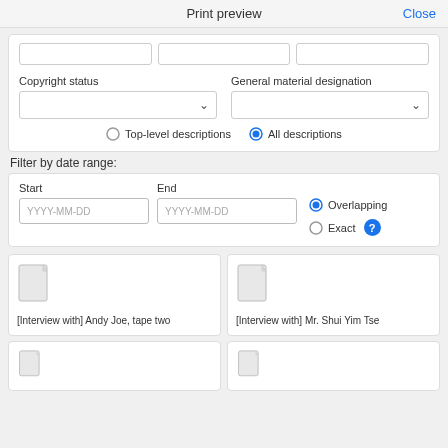Print preview    Close
Copyright status
General material designation
Top-level descriptions    All descriptions
Filter by date range:
Start    End    Overlapping    Exact
[Figure (screenshot): Date range filter panel with Start and End date inputs (YYYY-MM-DD), Overlapping radio selected, Exact radio unselected, and a help button]
[Interview with] Andy Joe, tape two
[Interview with] Mr. Shui Yim Tse